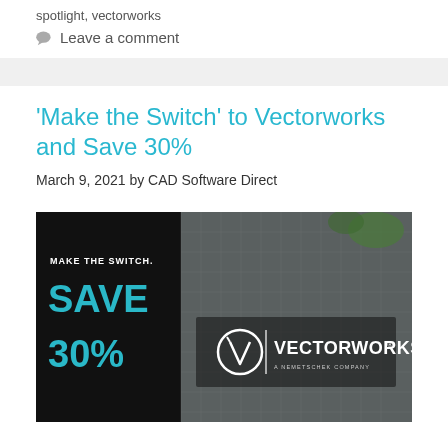spotlight, vectorworks
Leave a comment
'Make the Switch' to Vectorworks and Save 30%
March 9, 2021 by CAD Software Direct
[Figure (illustration): Vectorworks 'Make the Switch. Save 30%' promotional banner with teal text on dark background on left, and aerial architectural rendering with Vectorworks logo on right.]